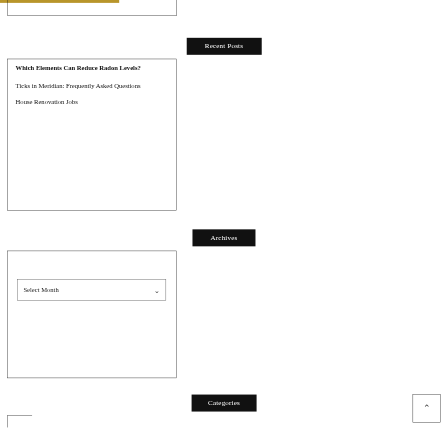Recent Posts
Which Elements Can Reduce Radon Levels?
Ticks in Meridian: Frequently Asked Questions
House Renovation Jobs
Archives
Select Month
Categories